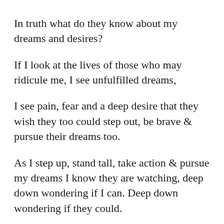In truth what do they know about my dreams and desires?
If I look at the lives of those who may ridicule me, I see unfulfilled dreams,
I see pain, fear and a deep desire that they wish they too could step out, be brave & pursue their dreams too.
As I step up, stand tall, take action & pursue my dreams I know they are watching, deep down wondering if I can. Deep down wondering if they could.

I will be the example & show that it is possible, I can, I will.
It matters not what they say, I shall follow my